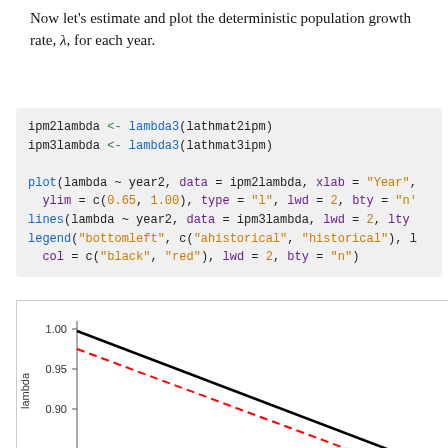Now let's estimate and plot the deterministic population growth rate, λ, for each year.
[Figure (screenshot): R code block showing ipm2lambda and ipm3lambda assignments, then plot, lines, and legend calls with color and style arguments.]
[Figure (continuous-plot): Partial line chart showing lambda (y-axis 0.90 to 1.00) vs Year; black solid line declining and red dashed line declining more steeply from upper left toward lower right. Chart is cut off at bottom.]